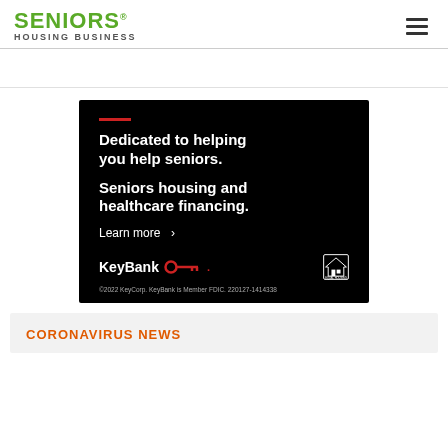[Figure (logo): Seniors Housing Business logo with green SENIORS text and gray HOUSING BUSINESS subtitle]
[Figure (other): Hamburger menu icon (three horizontal lines)]
[Figure (infographic): KeyBank advertisement on black background. Red horizontal line accent, white bold text: 'Dedicated to helping you help seniors.' and 'Seniors housing and healthcare financing.' with 'Learn more >' link. KeyBank logo with red key icon. Equal housing lender logo. Fine print: ©2022 KeyCorp. KeyBank is Member FDIC. 220127-1414338]
CORONAVIRUS NEWS